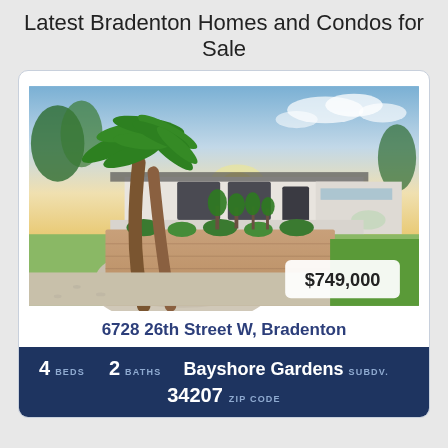Latest Bradenton Homes and Condos for Sale
[Figure (photo): Exterior photo of a single-story white modern home with palm trees in the foreground, brick paver driveway, tropical landscaping, and a price badge showing $749,000]
6728 26th Street W, Bradenton
| BEDS | BATHS | SUBDV. | ZIP CODE |
| --- | --- | --- | --- |
| 4 | 2 | Bayshore Gardens | 34207 |